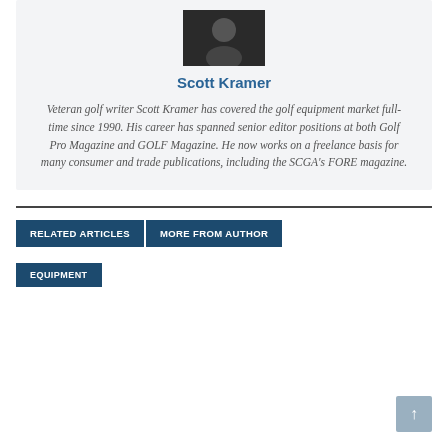[Figure (photo): Headshot photo of Scott Kramer, a man in dark clothing against a dark background]
Scott Kramer
Veteran golf writer Scott Kramer has covered the golf equipment market full-time since 1990. His career has spanned senior editor positions at both Golf Pro Magazine and GOLF Magazine. He now works on a freelance basis for many consumer and trade publications, including the SCGA’s FORE magazine.
RELATED ARTICLES   MORE FROM AUTHOR
EQUIPMENT